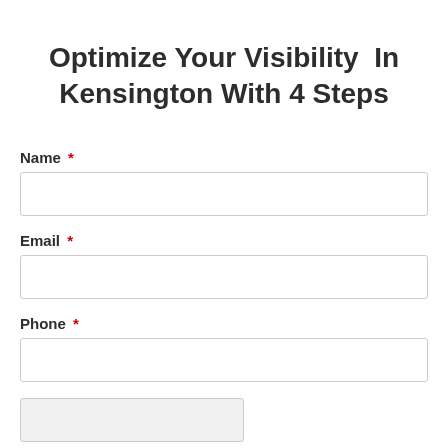Optimize Your Visibility In Kensington With 4 Steps
Name *
Email *
Phone *